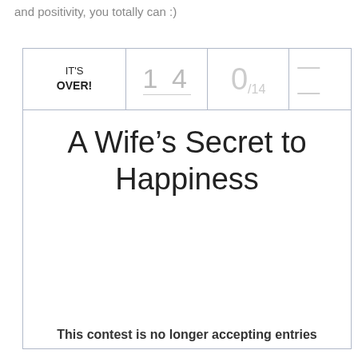and positivity, you totally can :)
| IT'S OVER! | 1 4 | 0/14 | — |
| --- | --- | --- | --- |
A Wife’s Secret to Happiness
This contest is no longer accepting entries